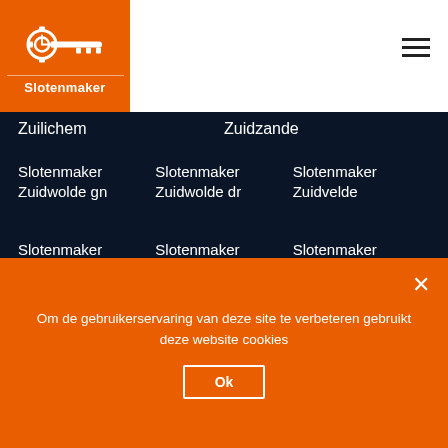[Figure (logo): Slotenmaker logo with key icon on orange background]
Zuilichem
Zuidzande
Slotenmaker Zuidwolde gn
Slotenmaker Zuidwolde dr
Slotenmaker Zuidvelde
Slotenmaker Zuidveld
Slotenmaker Zuidveen
Slotenmaker Zuidschermer
Privacy Policy | Sitemap
Onze partners: Schlüsseldienst Hamburg Schlüss... Köln
Om de gebruikerservaring van deze site te verbeteren gebruikt deze website cookies